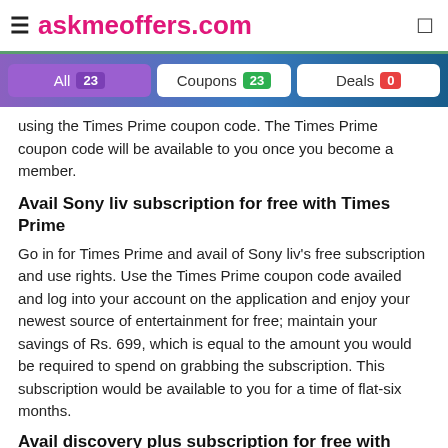≡ askmeoffers.com
All 23   Coupons 23   Deals 0
using the Times Prime coupon code. The Times Prime coupon code will be available to you once you become a member.
Avail Sony liv subscription for free with Times Prime
Go in for Times Prime and avail of Sony liv's free subscription and use rights. Use the Times Prime coupon code availed and log into your account on the application and enjoy your newest source of entertainment for free; maintain your savings of Rs. 699, which is equal to the amount you would be required to spend on grabbing the subscription. This subscription would be available to you for a time of flat-six months.
Avail discovery plus subscription for free with Times Prime
Avail in the discovery plus subscription for free who you are availing in the Times Prime membership. Redeem the Times